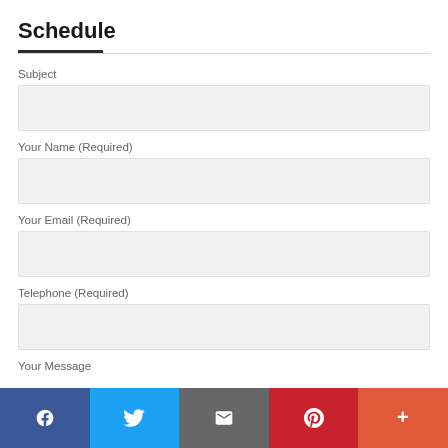Schedule
Subject
Your Name (Required)
Your Email (Required)
Telephone (Required)
Your Message
[Figure (other): Social share bar with Facebook, Twitter, Email, Pinterest, and More buttons]